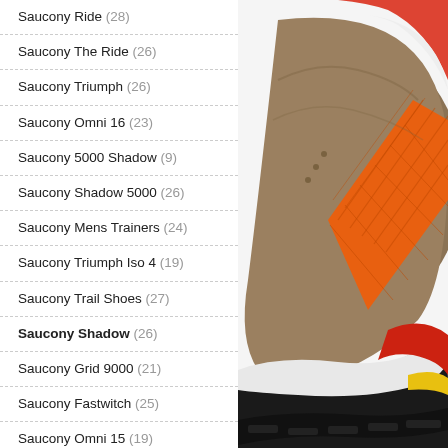Saucony Ride (28)
Saucony The Ride (26)
Saucony Triumph (26)
Saucony Omni 16 (23)
Saucony 5000 Shadow (9)
Saucony Shadow 5000 (26)
Saucony Mens Trainers (24)
Saucony Triumph Iso 4 (19)
Saucony Trail Shoes (27)
Saucony Shadow (26)
Saucony Grid 9000 (21)
Saucony Fastwitch (25)
Saucony Omni 15 (19)
Saucony Guide 10 Womens (20)
Saucony Ride Iso (21)
[Figure (photo): Close-up photo of a Saucony running shoe showing the heel and side detail, with brown/tan suede upper, orange mesh diagonal stripe, red heel counter, yellow midsole accent, white midsole and black outsole.]